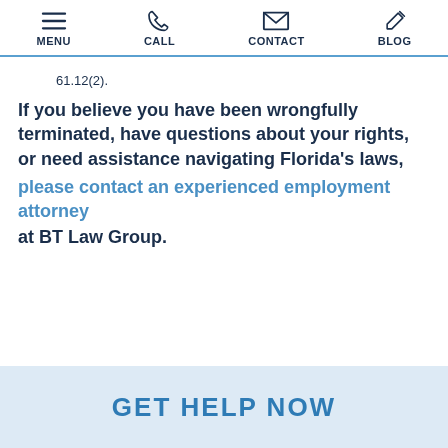MENU | CALL | CONTACT | BLOG
61.12(2).
If you believe you have been wrongfully terminated, have questions about your rights, or need assistance navigating Florida's laws, please contact an experienced employment attorney at BT Law Group.
GET HELP NOW